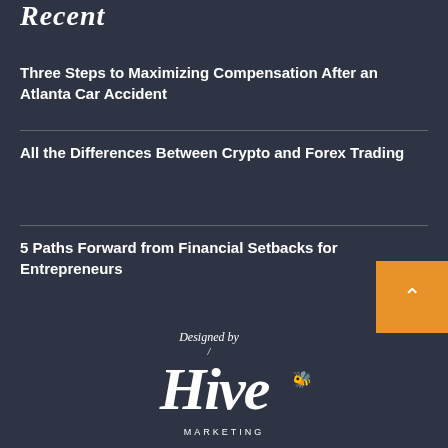Recent
Three Steps to Maximizing Compensation After an Atlanta Car Accident
All the Differences Between Crypto and Forex Trading
5 Paths Forward from Financial Setbacks for Entrepreneurs
[Figure (logo): Designed by Hive Marketing logo in white script on dark background]